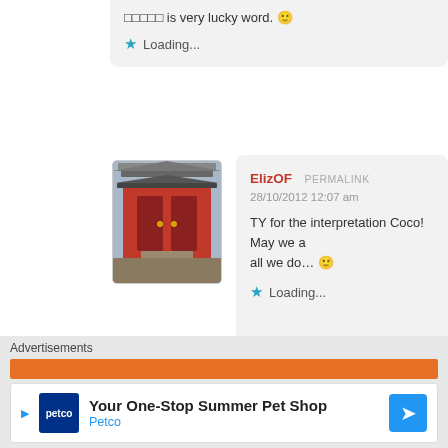□□□□□ is very lucky word. 🙂
⭐ Loading...
[Figure (photo): Avatar image of a Japanese shrine gate (red torii/gate), user ElizOF]
ElizOF  PERMALINK
28/10/2012 12:07 am
TY for the interpretation Coco! May we all we do... 🙂
⭐ Loading...
[Figure (photo): Avatar photo of a woman with dark curly hair smiling, user dearrosie]
dearrosie  PERMALINK
Advertisements
Your One-Stop Summer Pet Shop
Petco